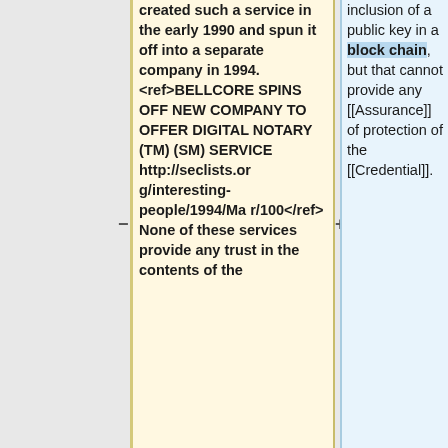created such a service in the early 1990 and spun it off into a separate company in 1994. <ref>BELLCORE SPINS OFF NEW COMPANY TO OFFER DIGITAL NOTARY (TM) (SM) SERVICE http://seclists.org/interesting-people/1994/Mar/100</ref> None of these services provide any trust in the contents of the
inclusion of a public key in a block chain, but that cannot provide any [[Assurance]] of protection of the [[Credential]].